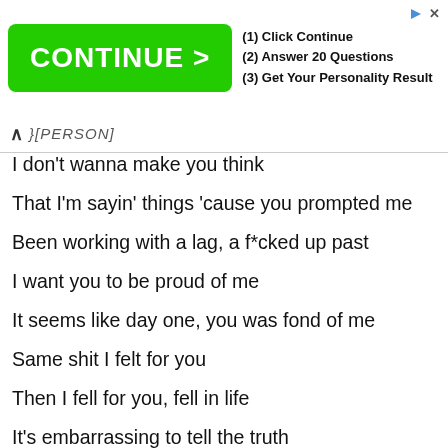[Figure (other): Advertisement banner with green 'CONTINUE >' button and steps: (1) Click Continue, (2) Answer 20 Questions, (3) Get Your Personality Result]
[PERSON]
I don't wanna make you think
That I'm sayin' things 'cause you prompted me
Been working with a lag, a f*cked up past
I want you to be proud of me
It seems like day one, you was fond of me
Same shit I felt for you
Then I fell for you, fell in life
It's embarrassing to tell the truth
But now it's to the point where my love is up for debate